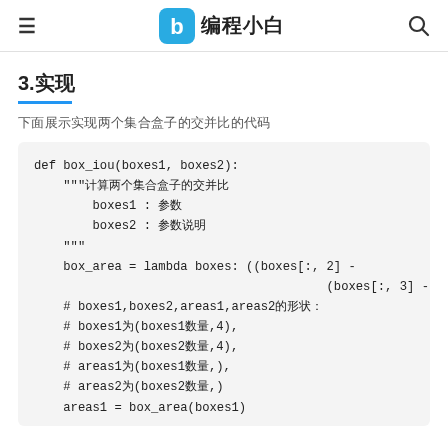≡  编程小白  🔍
3.实现
下面展示实现两个集合盒子的交并比的代码
def box_iou(boxes1, boxes2):
    """计算两个集合盒子的交并比
        boxes1 : 参数
        boxes2 : 参数说明
    """
    box_area = lambda boxes: ((boxes[:, 2] -
                                        (boxes[:, 3] -
    # boxes1,boxes2,areas1,areas2的形状：
    # boxes1为(boxes1数量,4),
    # boxes2为(boxes2数量,4),
    # areas1为(boxes1数量,),
    # areas2为(boxes2数量,)
    areas1 = box_area(boxes1)